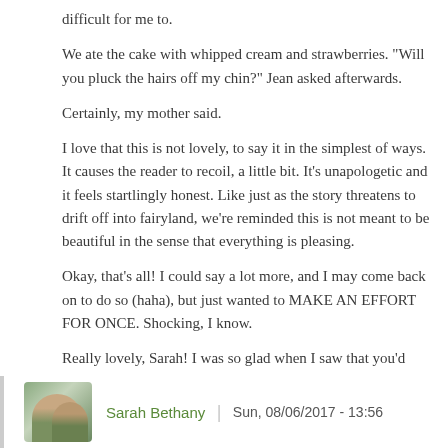difficult for me to.
We ate the cake with whipped cream and strawberries. "Will you pluck the hairs off my chin?" Jean asked afterwards.
Certainly, my mother said.
I love that this is not lovely, to say it in the simplest of ways. It causes the reader to recoil, a little bit. It's unapologetic and it feels startlingly honest. Like just as the story threatens to drift off into fairyland, we're reminded this is not meant to be beautiful in the sense that everything is pleasing.
Okay, that's all! I could say a lot more, and I may come back on to do so (haha), but just wanted to MAKE AN EFFORT FOR ONCE. Shocking, I know.
Really lovely, Sarah! I was so glad when I saw that you'd posted!
Sarah Bethany | Sun, 08/06/2017 - 13:56